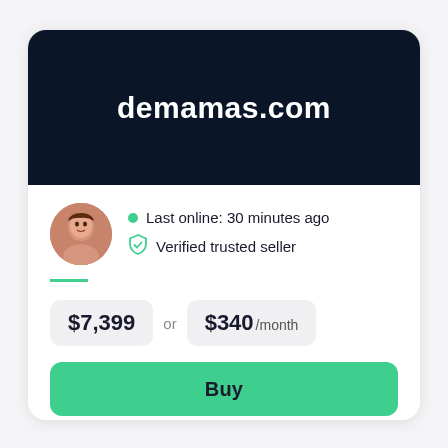demamas.com
Last online: 30 minutes ago
Verified trusted seller
$7,399 or $340 /month
Buy